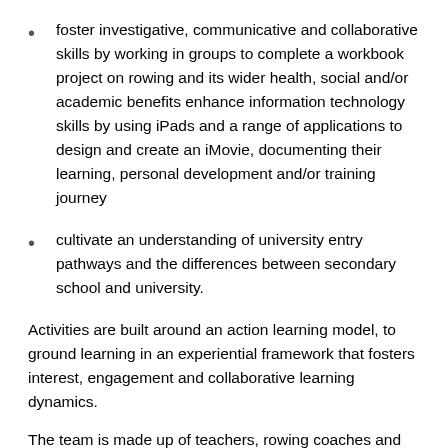foster investigative, communicative and collaborative skills by working in groups to complete a workbook project on rowing and its wider health, social and/or academic benefits enhance information technology skills by using iPads and a range of applications to design and create an iMovie, documenting their learning, personal development and/or training journey
cultivate an understanding of university entry pathways and the differences between secondary school and university.
Activities are built around an action learning model, to ground learning in an experiential framework that fosters interest, engagement and collaborative learning dynamics.
The team is made up of teachers, rowing coaches and university ambassador coaches. The organisational structure creates the potential for a positive student–teacher dynamic and enables role model relationships to develop organically.